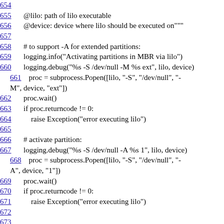[Figure (screenshot): Source code listing showing Python function lines 654-675 with line numbers as hyperlinks, implementing lilo and syslinux MBR installation routines]